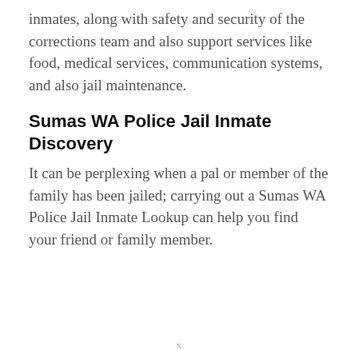inmates, along with safety and security of the corrections team and also support services like food, medical services, communication systems, and also jail maintenance.
Sumas WA Police Jail Inmate Discovery
It can be perplexing when a pal or member of the family has been jailed; carrying out a Sumas WA Police Jail Inmate Lookup can help you find your friend or family member.